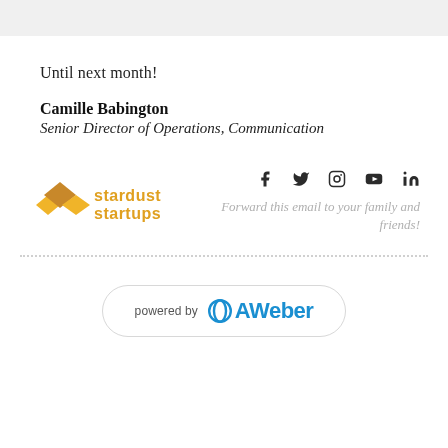Until next month!
Camille Babington
Senior Director of Operations, Communication
[Figure (logo): Stardust Startups logo with geometric diamond shapes in gold/yellow and company name in gold text]
Forward this email to your family and friends!
powered by AWeber